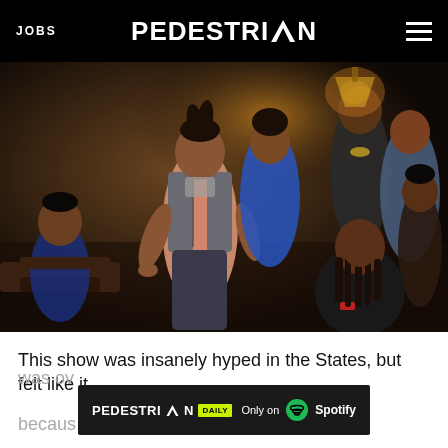JOBS  PEDESTRIAN  ☰
[Figure (photo): TV show scene with multiple young Black characters in a room; central character is a young woman in a gray vest, pink top, and floral pants; other people are visible in the background and foreground]
This show was insanely hyped in the States, but felt like it was ov...
becaus... erica,
[Figure (other): PEDESTRIAN DAILY - Only on Spotify advertisement banner]